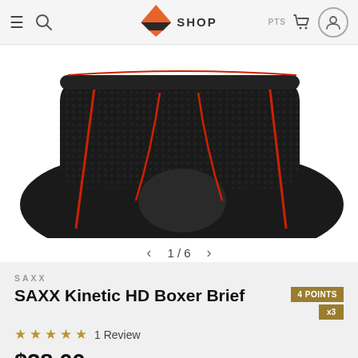SHOP
[Figure (photo): Black boxer briefs with red accent seams, closeup product photo on white background, showing waistband and leg openings]
1 / 6
SAXX
SAXX Kinetic HD Boxer Brief
4 POINTS x3
1 Review
$38.00
COLOR: BLACK & VERMILLION